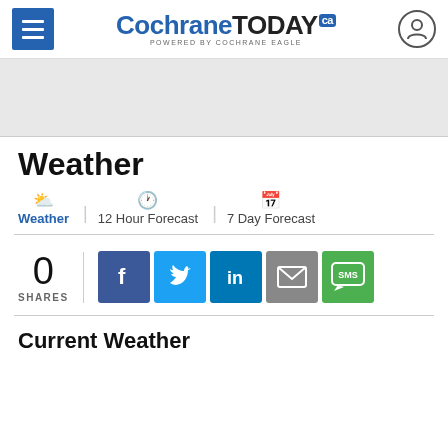CochraneTODAY.ca POWERED BY COCHRANE EAGLE
[Figure (other): Gray advertisement banner placeholder]
Weather
Weather | 12 Hour Forecast | 7 Day Forecast
0 SHARES — social sharing buttons: Facebook, Twitter, LinkedIn, Email, SMS
Current Weather